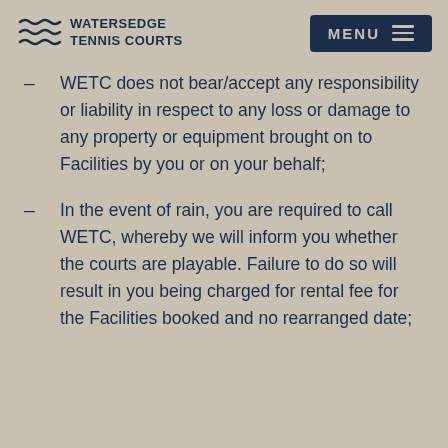WATERSEDGE TENNIS COURTS
WETC does not bear/accept any responsibility or liability in respect to any loss or damage to any property or equipment brought on to Facilities by you or on your behalf;
In the event of rain, you are required to call WETC, whereby we will inform you whether the courts are playable. Failure to do so will result in you being charged for rental fee for the Facilities booked and no rearranged date;